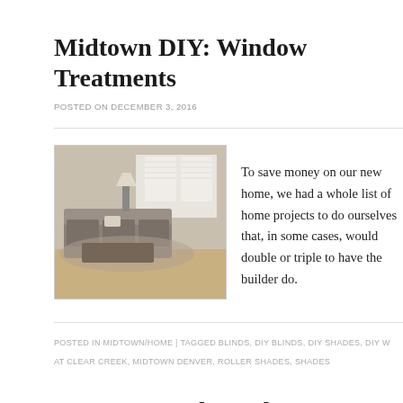Midtown DIY: Window Treatments
POSTED ON DECEMBER 3, 2016
[Figure (photo): Living room interior with sofa, coffee table, and roller shades on windows]
To save money on our new home, we had a whole list of home projects to do ourselves that, in some cases, would double or triple to have the builder do.
POSTED IN MIDTOWN/HOME | TAGGED BLINDS, DIY BLINDS, DIY SHADES, DIY W... AT CLEAR CREEK, MIDTOWN DENVER, ROLLER SHADES, SHADES
Our Denver-themed Guest Room
POSTED ON NOVEMBER 6, 2016